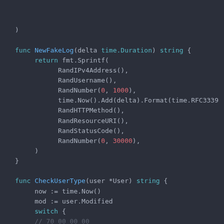)

func NewFakeLog(delta time.Duration) string {
    return fmt.Sprintf(
            RandIPv4Address(),
            RandUsername(),
            RandNumber(0, 1000),
            time.Now().Add(delta).Format(time.RFC3339
            RandHTTPMethod(),
            RandResourceURI(),
            RandStatusCode(),
            RandNumber(0, 30000),
    )
}

func CheckUserType(user *User) string {
    now := time.Now()
    mod := user.Modified
    switch {
    // 70 00 00 00
    case mod.After(now.AddDate(0, 0, -7)):
        return "active"